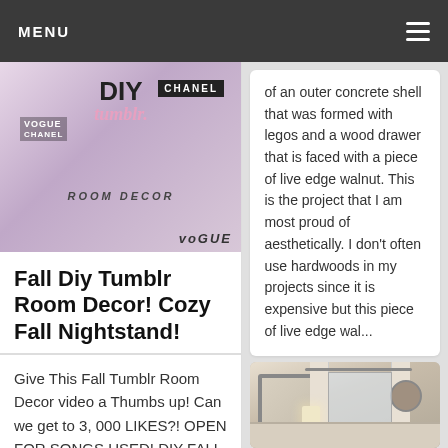MENU
[Figure (photo): DIY Tumblr Room Decor thumbnail with Chanel, Vogue, tumblr. branding overlay]
Fall Diy Tumblr Room Decor! Cozy Fall Nightstand!
Give This Fall Tumblr Room Decor video a Thumbs up! Can we get to 3, 000 LIKES?! OPEN FOR SONGS USED! DIY FALL SLEEPOVER: Visit my Blog! Inspiration photos && the template for the candles here!
of an outer concrete shell that was formed with legos and a wood drawer that is faced with a piece of live edge walnut. This is the project that I am most proud of aesthetically. I don't often use hardwoods in my projects since it is expensive but this piece of live edge wal...
[Figure (photo): Interior bedroom photo showing mirror, curtains, lamp and decorative elements]